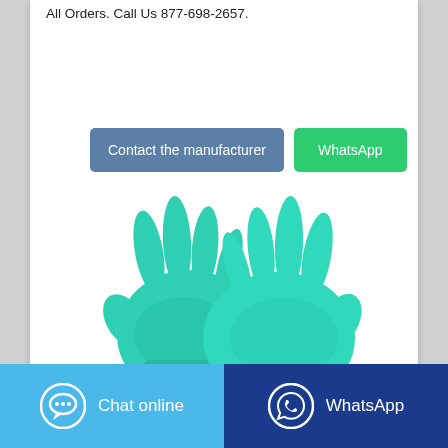All Orders. Call Us 877-698-2657.
Contact the manufacturer | WhatsApp
[Figure (photo): Two teal/green nitrile disposable gloves photographed on a white background, one overlapping the other, fingers spread.]
Chat online | WhatsApp